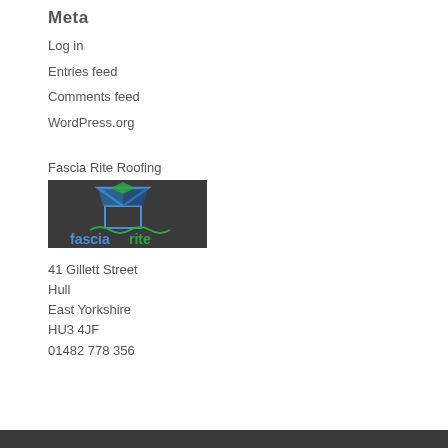Meta
Log in
Entries feed
Comments feed
WordPress.org
Fascia Rite Roofing
[Figure (logo): Fascia Rite Roofing logo: dark background with a house/roof graphic in blue and green, text 'fascia' in blue and 'rite' in green]
41 Gillett Street
Hull
East Yorkshire
HU3 4JF
01482 778 356